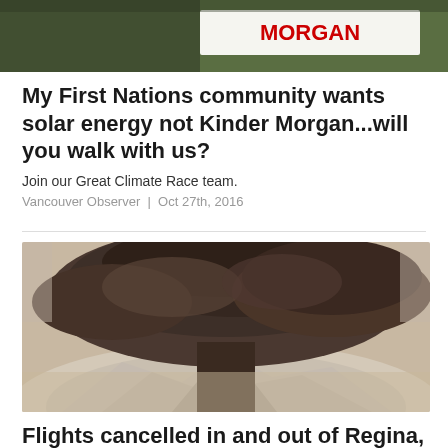[Figure (photo): Partial view of a protest sign with red text 'MORGAN' on white background, with greenery in background]
My First Nations community wants solar energy not Kinder Morgan...will you walk with us?
Join our Great Climate Race team.
Vancouver Observer  |  Oct 27th, 2016
[Figure (photo): Aerial photograph of a large volcanic eruption with massive dark ash cloud billowing upward over a snow-covered mountain]
Flights cancelled in and out of Regina,